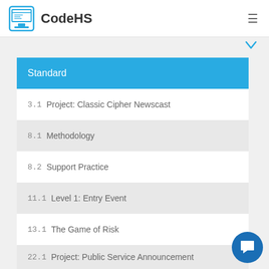CodeHS
Standard
3.1  Project: Classic Cipher Newscast
8.1  Methodology
8.2  Support Practice
11.1  Level 1: Entry Event
13.1  The Game of Risk
22.1  Project: Public Service Announcement